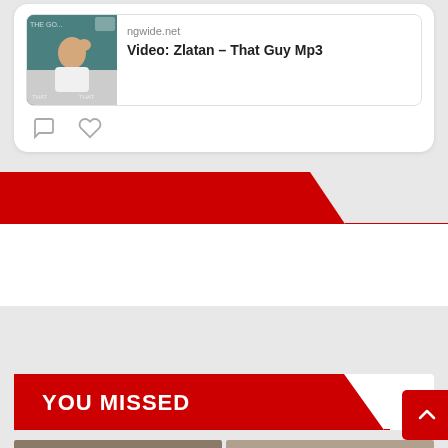[Figure (screenshot): Social media card with thumbnail image of a person and link preview showing ngwide.net - Video: Zlatan – That Guy Mp3, with comment and like icons below]
[Figure (infographic): Red diagonal banner/header graphic element spanning full width]
[Figure (infographic): White content area below red banner]
YOU MISSED
[Figure (infographic): YOU MISSED red banner with diagonal cut and scroll-to-top red button with up arrow on right side]